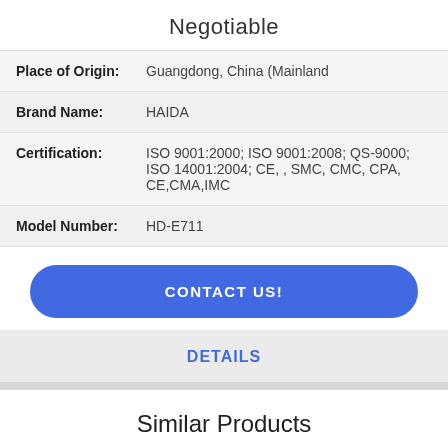Negotiable
| Field | Value |
| --- | --- |
| Place of Origin: | Guangdong, China (Mainland |
| Brand Name: | HAIDA |
| Certification: | ISO 9001:2000; ISO 9001:2008; QS-9000; ISO 14001:2004; CE, , SMC, CMC, CPA, CE,CMA,IMC |
| Model Number: | HD-E711 |
CONTACT US!
DETAILS
Similar Products